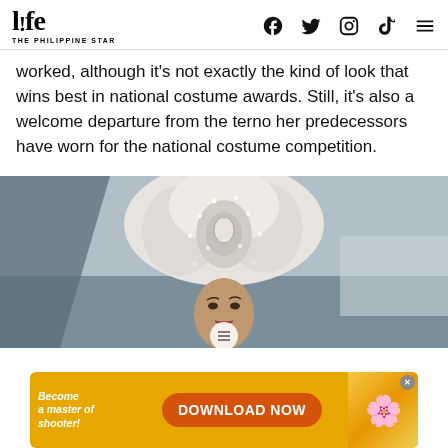life THE PHILIPPINE STAR
worked, although it's not exactly the kind of look that wins best in national costume awards. Still, it's also a welcome departure from the terno her predecessors have worn for the national costume competition.
[Figure (photo): Woman wearing an elaborate silvery-white beaded headdress/crown at what appears to be a pageant or fashion event.]
[Figure (screenshot): Advertisement banner: 'Become a master of shooter! DOWNLOAD NOW' with orange/yellow background and starfish icon.]